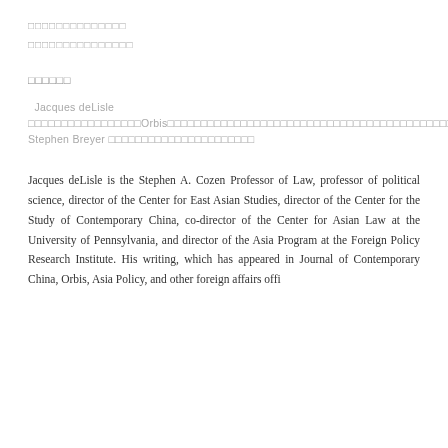□□□□□□□□□□□□□□
□□□□□□□□□□□□□□□
□□□□□□
Jacques deLisle □□□□□□□□□□□□□□□□□Orbis□□□□□□□□□□□□□□□□□□□□□□□□□□□□□□□□□□□□□□□□□□□□□□□□□□□□□□□□□□□□□□□□□□□□□□□□□□□□□□□□□□□□□□□□□□□□□□□□□□□□□□□□□□□□□□□□□□□□□□□□□□□□□□□□□□□□□□□□□□□□□□□□□□□□□□□□□□□□□□□□□□□□ Stephen Breyer □□□□□□□□□□□□□□□□□□□□□□
Jacques deLisle is the Stephen A. Cozen Professor of Law, professor of political science, director of the Center for East Asian Studies, director of the Center for the Study of Contemporary China, co-director of the Center for Asian Law at the University of Pennsylvania, and director of the Asia Program at the Foreign Policy Research Institute. His writing, which has appeared in Journal of Contemporary China, Orbis, Asia Policy, and other foreign affairs journals,